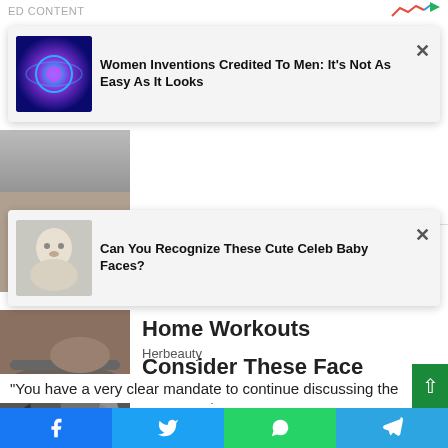ED CONTENT
[Figure (screenshot): Ad overlay card 1: thumbnail of neural/abstract blue-purple image, title: Women Inventions Credited To Men: It's Not As Easy As It Looks, with close X button]
That Changed Wilson's Life: Owen's Rise To Fame
[Figure (screenshot): Ad overlay card 2: thumbnail of cute baby child in black and white, title: Can You Recognize These Cute Celeb Baby Faces?, with close X button]
Most Wish They Knew This Before Starting At Home Workouts
Herbeauty
[Figure (photo): Photo of a person doing yoga/workout on a mat]
[Figure (photo): Photo of charcoal/chia seeds in a spoon]
Consider These Face Masks, Which Are Faster Than Facials
Herbeauty
“You have a very clear mandate to continue discussing the
Facebook Twitter WhatsApp Telegram